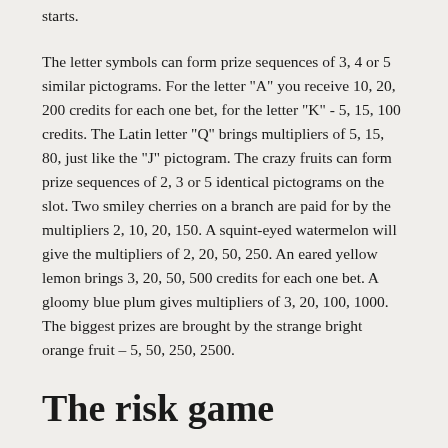starts.
The letter symbols can form prize sequences of 3, 4 or 5 similar pictograms. For the letter "A" you receive 10, 20, 200 credits for each one bet, for the letter "K" - 5, 15, 100 credits. The Latin letter "Q" brings multipliers of 5, 15, 80, just like the "J" pictogram. The crazy fruits can form prize sequences of 2, 3 or 5 identical pictograms on the slot. Two smiley cherries on a branch are paid for by the multipliers 2, 10, 20, 150. A squint-eyed watermelon will give the multipliers of 2, 20, 50, 250. An eared yellow lemon brings 3, 20, 50, 500 credits for each one bet. A gloomy blue plum gives multipliers of 3, 20, 100, 1000. The biggest prizes are brought by the strange bright orange fruit – 5, 50, 250, 2500.
The risk game
You can increase the sum of the prize for the combination in the risk game. To start this mode, press the "gamble" button, which is located in the very centre of the control panel. You will see a deck of cards, backs up, and five cards which has been recently opened. You will have to